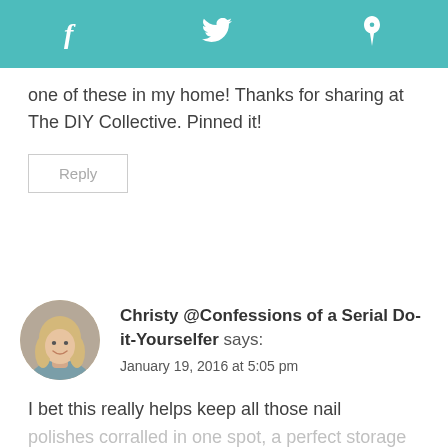[Figure (other): Teal social media share bar with Facebook (f), Twitter (bird), and Pinterest (P) icons]
one of these in my home! Thanks for sharing at The DIY Collective. Pinned it!
Reply
[Figure (photo): Circular avatar photo of a smiling blonde woman]
Christy @Confessions of a Serial Do-it-Yourselfer says:
January 19, 2016 at 5:05 pm
I bet this really helps keep all those nail polishes corralled in one spot, a perfect storage solution! XO